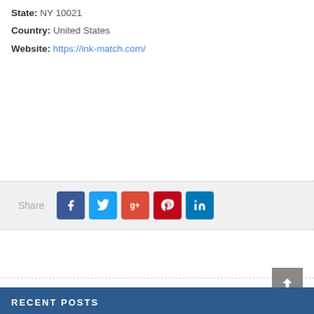State: NY 10021
Country: United States
Website: https://ink-match.com/
[Figure (infographic): Social share bar with label 'Share' and icons for Facebook, Twitter, Google+, Pinterest, LinkedIn]
RECENT POSTS